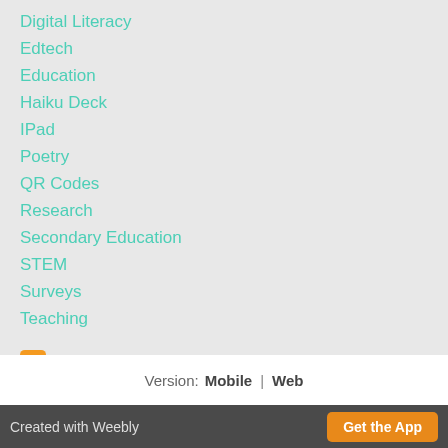Digital Literacy
Edtech
Education
Haiku Deck
IPad
Poetry
QR Codes
Research
Secondary Education
STEM
Surveys
Teaching
RSS Feed
Version: Mobile | Web
Created with Weebly   Get the App